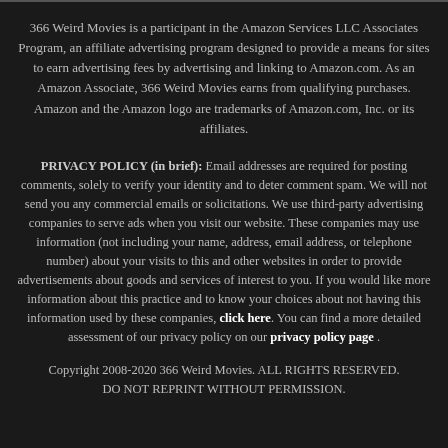366 Weird Movies is a participant in the Amazon Services LLC Associates Program, an affiliate advertising program designed to provide a means for sites to earn advertising fees by advertising and linking to Amazon.com. As an Amazon Associate, 366 Weird Movies earns from qualifying purchases. Amazon and the Amazon logo are trademarks of Amazon.com, Inc. or its affiliates.
PRIVACY POLICY (in brief): Email addresses are required for posting comments, solely to verify your identity and to deter comment spam. We will not send you any commercial emails or solicitations. We use third-party advertising companies to serve ads when you visit our website. These companies may use information (not including your name, address, email address, or telephone number) about your visits to this and other websites in order to provide advertisements about goods and services of interest to you. If you would like more information about this practice and to know your choices about not having this information used by these companies, click here. You can find a more detailed assessment of our privacy policy on our privacy policy page .
Copyright 2008-2020 366 Weird Movies. ALL RIGHTS RESERVED. DO NOT REPRINT WITHOUT PERMISSION.